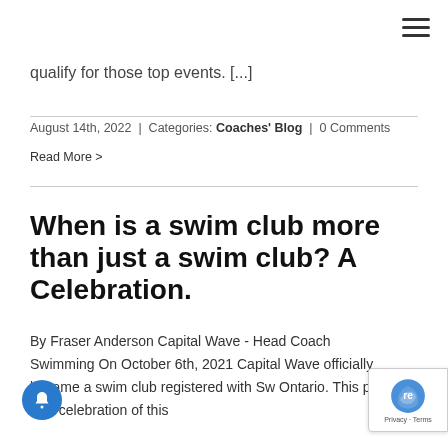qualify for those top events. [...]
August 14th, 2022 | Categories: Coaches' Blog | 0 Comments
Read More >
When is a swim club more than just a swim club? A Celebration.
By Fraser Anderson Capital Wave - Head Coach Swimming On October 6th, 2021 Capital Wave officially became a swim club registered with Sw Ontario. This post is in celebration of this